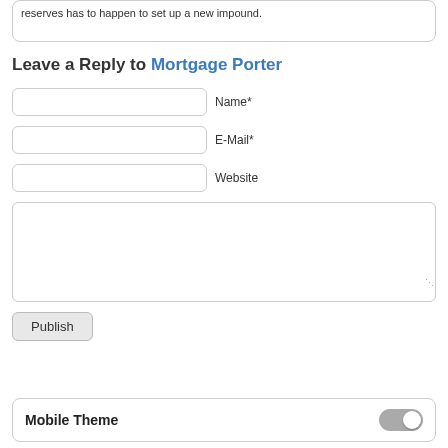reserves has to happen to set up a new impound.
Leave a Reply to Mortgage Porter
[Figure (screenshot): Web form with fields for Name*, E-Mail*, Website, a comment textarea, and a Publish button]
Mobile Theme